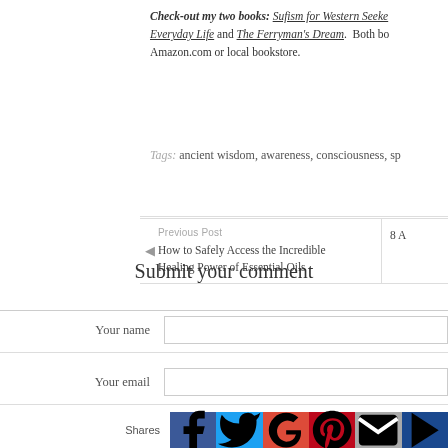Check-out my two books: Sufism for Western Seekers: Profile of an American Sufi Master and Everyday Life and The Ferryman's Dream. Both books are available through Amazon.com or local bookstore.
Tags: ancient wisdom, awareness, consciousness, sp…
Previous Post
◄ How to Safely Access the Incredible Healing Power of Essential Oils
8 A…
Submit your comment
Your name
Your email